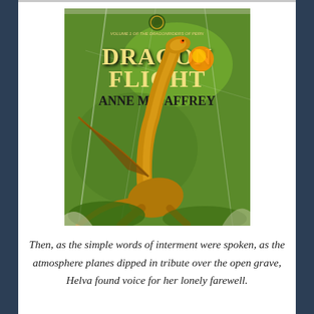[Figure (photo): Book cover of 'Dragonflight' by Anne McCaffrey — Volume 1 of The Dragonriders of Pern. The cover features a golden dragon with neck outstretched on a green background. The book appears worn with visible crease marks.]
Then, as the simple words of interment were spoken, as the atmosphere planes dipped in tribute over the open grave, Helva found voice for her lonely farewell.